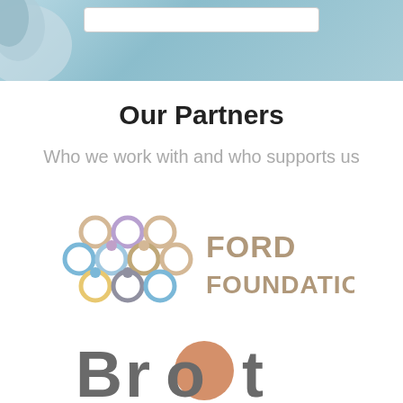[Figure (photo): Blue-toned banner image with a gloved hand visible at left and a search bar element at top center]
Our Partners
Who we work with and who supports us
[Figure (logo): Ford Foundation logo with colorful interconnected circles on the left and 'FORD FOUNDATION' text in tan/beige on the right]
[Figure (logo): Brot logo with large gray and orange letters spelling 'Brot']